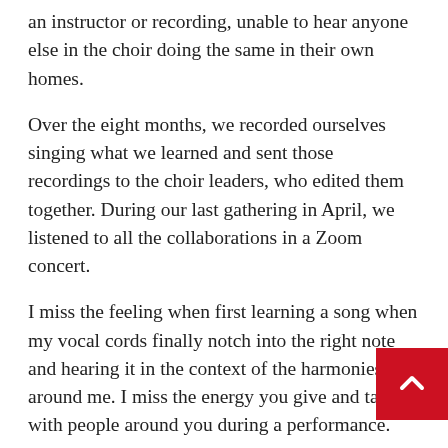an instructor or recording, unable to hear anyone else in the choir doing the same in their own homes.
Over the eight months, we recorded ourselves singing what we learned and sent those recordings to the choir leaders, who edited them together. During our last gathering in April, we listened to all the collaborations in a Zoom concert.
I miss the feeling when first learning a song when my vocal cords finally notch into the right note and hearing it in the context of the harmonies all around me. I miss the energy you give and take with people around you during a performance.
A virtual choir may not have been the same as in-pe[rson], but through the isolation, stress and physical limita[tions, I] was deeply grateful to have had it.